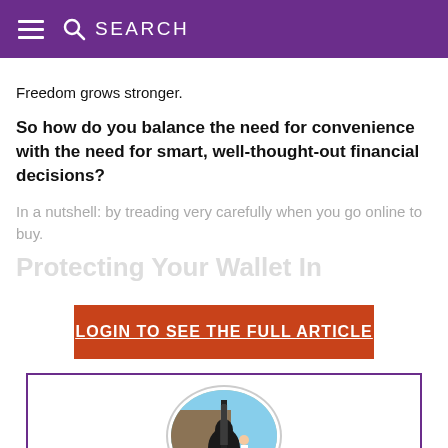SEARCH
Freedom grows stronger.
So how do you balance the need for convenience with the need for smart, well-thought-out financial decisions?
In a nutshell: by treading very carefully when you go online to buy.
Protecting Your Wallet In
LOGIN TO SEE THE FULL ARTICLE
[Figure (photo): Circular profile photo of a person standing next to a large decorative guitar sculpture outdoors]